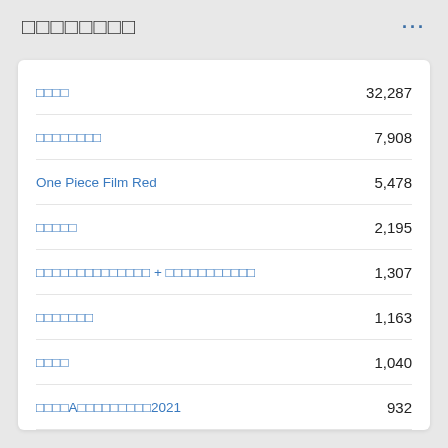□□□□□□□□
| Title | Value |
| --- | --- |
| □□□□ | 32,287 |
| □□□□□□□□ | 7,908 |
| One Piece Film Red | 5,478 |
| □□□□□ | 2,195 |
| □□□□□□□□□□□□□□ + □□□□□□□□□□□ | 1,307 |
| □□□□□□□ | 1,163 |
| □□□□ | 1,040 |
| □□□□A□□□□□□□□□2021 | 932 |
| □□□ | 551 |
| □□□□□□□ □□□□·□□□□ | 484 |